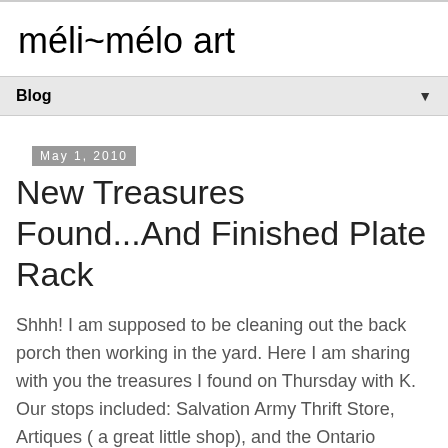méli~mélo art
Blog ▼
May 1, 2010
New Treasures Found...And Finished Plate Rack
Shhh! I am supposed to be cleaning out the back porch then working in the yard. Here I am sharing with you the treasures I found on Thursday with K. Our stops included: Salvation Army Thrift Store, Artiques ( a great little shop), and the Ontario Antique Mall. Oh, there was another antique store as well, just can't remember the name of it. Another great day of finds.
This is what I purchased at the SA: